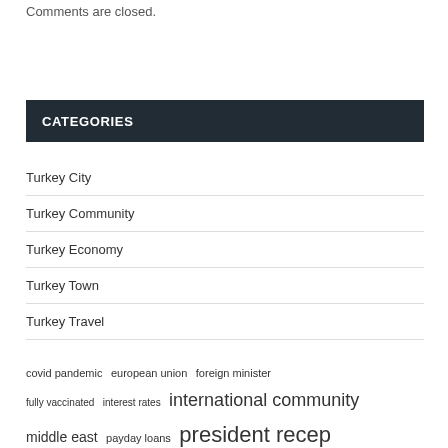Comments are closed.
CATEGORIES
Turkey City
Turkey Community
Turkey Economy
Turkey Town
Turkey Travel
covid pandemic  european union  foreign minister  fully vaccinated  interest rates  international community  middle east  payday loans  president recep